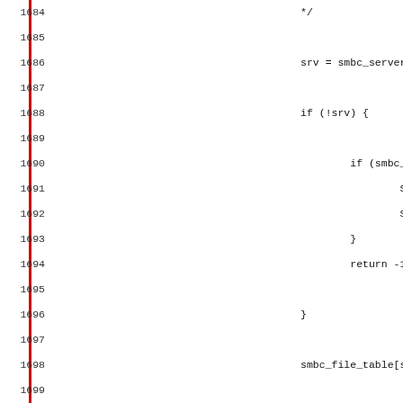[Figure (screenshot): Source code listing showing lines 1684-1715 of C code with a red vertical bar on the left. The code shows SMB client server enumeration logic including smbc_server(), smbc_file_table, cli_NetServerEnum calls, error handling with SAFE_FREE and errno, and return statements.]